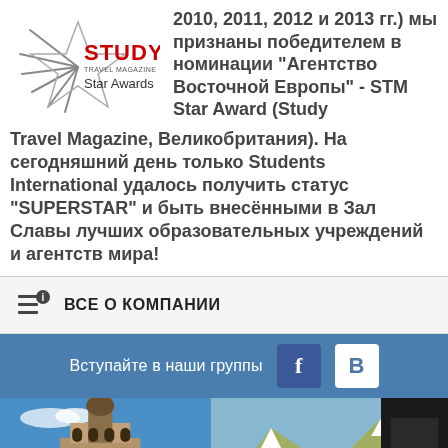[Figure (logo): Study Travel Magazine Star Awards logo with star graphic]
2010, 2011, 2012 и 2013 гг.) мы признаны победителем в номинации "Агентство Восточной Европы" - STM Star Award (Study Travel Magazine, Великобритания). На сегодняшний день только Students International удалось получить статус "SUPERSTAR" и быть внесёнными в Зал Славы лучших образовательных учреждений и агентств мира!
ВСЕ О КОМПАНИИ
Вступайте в наши группы
[Figure (photo): Three photos showing European architecture and buildings]